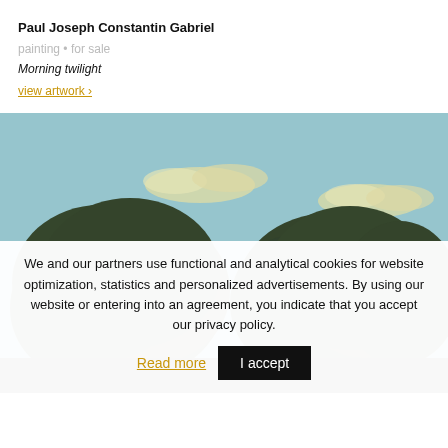Paul Joseph Constantin Gabriel
painting • for sale
Morning twilight
view artwork ›
[Figure (photo): Painting of trees against a blue sky with white clouds — morning landscape scene by Paul Joseph Constantin Gabriel titled 'Morning twilight'.]
We and our partners use functional and analytical cookies for website optimization, statistics and personalized advertisements. By using our website or entering into an agreement, you indicate that you accept our privacy policy.
Read more
I accept